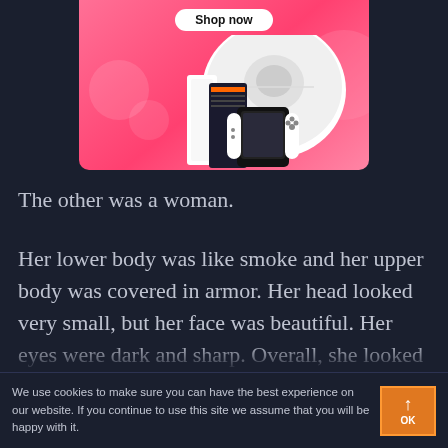[Figure (screenshot): Advertisement banner with pink gradient background showing 'Shop now' button and consumer electronics products (robot vacuum, gaming console, Nintendo Switch OLED)]
The other was a woman.
Her lower body was like smoke and her upper body was covered in armor. Her head looked very small, but her face was beautiful. Her eyes were dark and sharp. Overall, she looked
We use cookies to make sure you can have the best experience on our website. If you continue to use this site we assume that you will be happy with it.